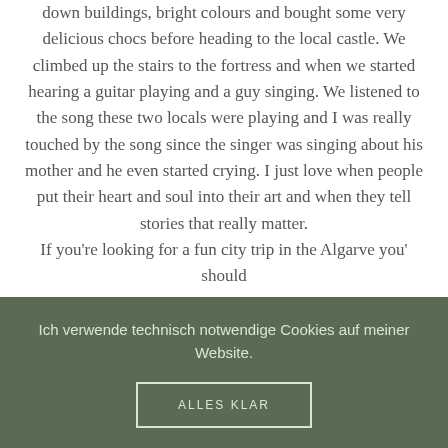down buildings, bright colours and bought some very delicious chocs before heading to the local castle. We climbed up the stairs to the fortress and when we started hearing a guitar playing and a guy singing. We listened to the song these two locals were playing and I was really touched by the song since the singer was singing about his mother and he even started crying. I just love when people put their heart and soul into their art and when they tell stories that really matter.
If you're looking for a fun city trip in the Algarve you' should
Ich verwende technisch notwendige Cookies auf meiner Website.
ALLES KLAR